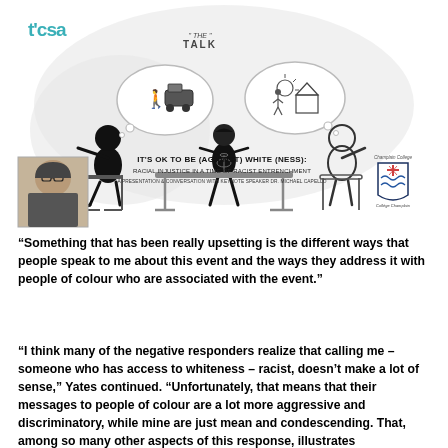[Figure (illustration): Illustration showing three people seated around a table having a conversation labeled 'The Talk', with thought bubbles above two of them. Below the illustration: a headshot photo of Dr. Michael Capello on the left, text reading 'IT'S OK TO BE (AGAINST) WHITE (NESS): RACIAL INJUSTICE IN A TIME OF RACIST ENTRENCHMENT - A PRESENTATION & CONVERSATION WITH KEYNOTE SPEAKER DR. MICHAEL CAPELLO' in the center, and the Champlain College crest logo on the right. The TCSA logo appears in the top left.]
“Something that has been really upsetting is the different ways that people speak to me about this event and the ways they address it with people of colour who are associated with the event.”
“I think many of the negative responders realize that calling me – someone who has access to whiteness – racist, doesn’t make a lot of sense,” Yates continued. “Unfortunately, that means that their messages to people of colour are a lot more aggressive and discriminatory, while mine are just mean and condescending. That, among so many other aspects of this response, illustrates